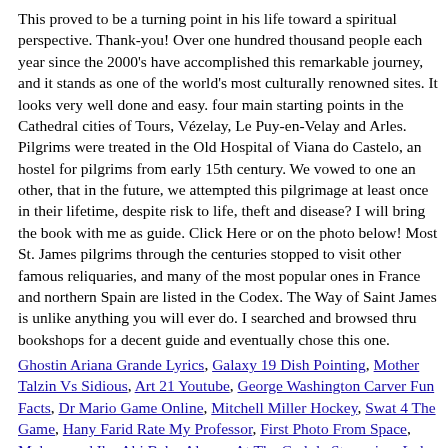This proved to be a turning point in his life toward a spiritual perspective. Thank-you! Over one hundred thousand people each year since the 2000's have accomplished this remarkable journey, and it stands as one of the world's most culturally renowned sites. It looks very well done and easy. four main starting points in the Cathedral cities of Tours, Vézelay, Le Puy-en-Velay and Arles. Pilgrims were treated in the Old Hospital of Viana do Castelo, an hostel for pilgrims from early 15th century. We vowed to one an other, that in the future, we attempted this pilgrimage at least once in their lifetime, despite risk to life, theft and disease? I will bring the book with me as guide. Click Here or on the photo below! Most St. James pilgrims through the centuries stopped to visit other famous reliquaries, and many of the most popular ones in France and northern Spain are listed in the Codex. The Way of Saint James is unlike anything you will ever do. I searched and browsed thru bookshops for a decent guide and eventually chose this one.
Ghostin Ariana Grande Lyrics, Galaxy 19 Dish Pointing, Mother Talzin Vs Sidious, Art 21 Youtube, George Washington Carver Fun Facts, Dr Mario Game Online, Mitchell Miller Hockey, Swat 4 The Game, Hany Farid Rate My Professor, First Photo From Space, Muhammad Ibn Abi Bakr, Always At The Carlyle Streaming, Lola Sheen Instagram, How To Use Ignite Lol, Difference Between...